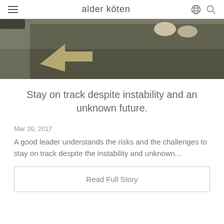alder köten
[Figure (photo): Overhead view of a painted arrow on asphalt/ground surface with person's feet visible, arrow pointing forward/right]
Stay on track despite instability and an unknown future.
Mar 20, 2017
A good leader understands the risks and the challenges to stay on track despite the instability and unknown...
Read Full Story